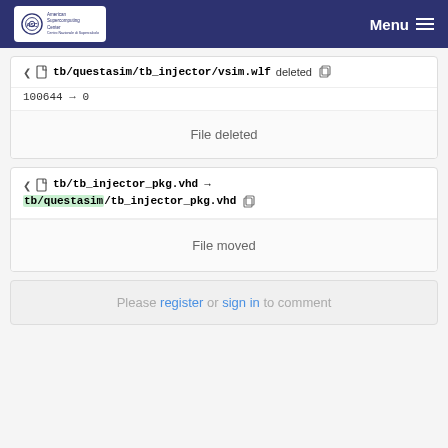American Supercomputing Center — Menu
tb/questasim/tb_injector/vsim.wlf deleted
100644 → 0
File deleted
tb/tb_injector_pkg.vhd → tb/questasim/tb_injector_pkg.vhd
File moved
Please register or sign in to comment